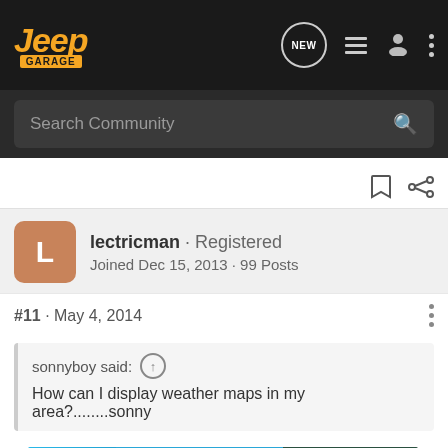Jeep Garage - NEW
Search Community
lectricman · Registered
Joined Dec 15, 2013 · 99 Posts
#11 · May 4, 2014
sonnyboy said: ↑
How can I display weather maps in my area?........sonny
Apps screen, travel link, weather map
[Figure (screenshot): Overland Expo East 2022 advertisement banner: October 7-9, Arrington, VA. Plan Your Adventure.]